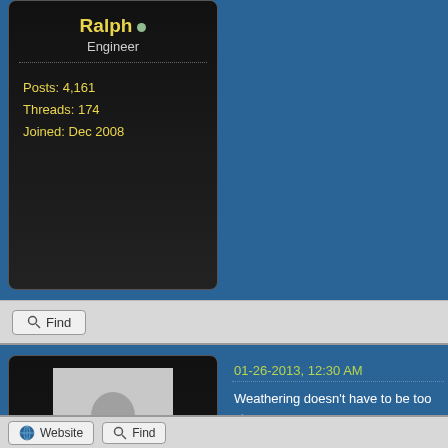Ralph • Engineer
Posts: 4,161
Threads: 174
Joined: Dec 2008
Find
[Figure (illustration): Default user avatar silhouette placeholder image]
sailormatlac • Engineer
Posts: 1,682
Threads: 101
Joined: Dec 2011
01-26-2013, 12:30 AM
Weathering doesn't have to be too strong...
Matt
Proudly modelling Quebec Railway Light &...
Hedley-Junction Club Layout: http://www.he...
Erie 149th Street Harlem Station http://www...
Website   Find